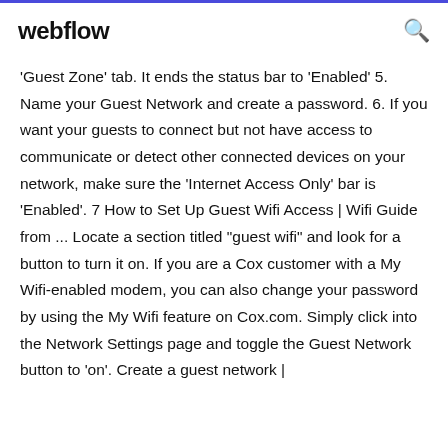webflow
'Guest Zone' tab. It ends the status bar to 'Enabled' 5. Name your Guest Network and create a password. 6. If you want your guests to connect but not have access to communicate or detect other connected devices on your network, make sure the 'Internet Access Only' bar is 'Enabled'. 7 How to Set Up Guest Wifi Access | Wifi Guide from ... Locate a section titled “guest wifi” and look for a button to turn it on. If you are a Cox customer with a My Wifi-enabled modem, you can also change your password by using the My Wifi feature on Cox.com. Simply click into the Network Settings page and toggle the Guest Network button to ‘on’. Create a guest network |